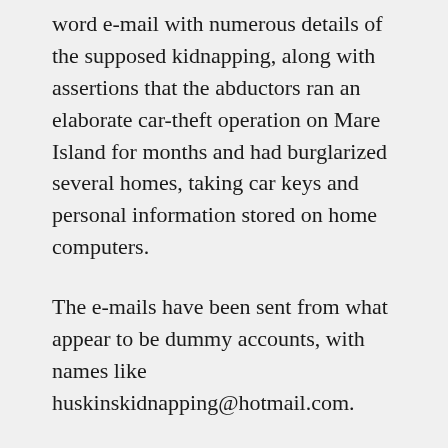word e-mail with numerous details of the supposed kidnapping, along with assertions that the abductors ran an elaborate car-theft operation on Mare Island for months and had burglarized several homes, taking car keys and personal information stored on home computers.
The e-mails have been sent from what appear to be dummy accounts, with names like huskinskidnapping@hotmail.com.
In one e-mail, the sender identified the group as "sort of Ocean's Eleven, gentlemen criminals." The writer said they had turned to kidnapping for ransom because they "did not want to stay thieves or criminals forever. What we really want is decent